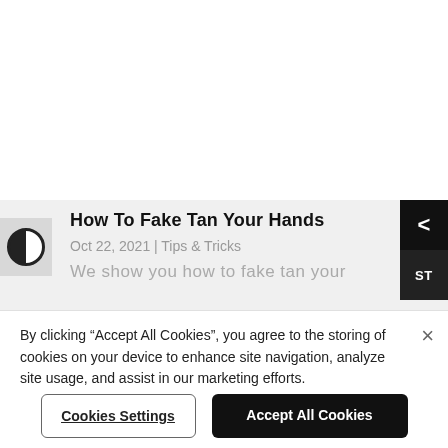How To Fake Tan Your Hands
Oct 22, 2021 | Tips & Tricks
We show you how to fake tan your
By clicking “Accept All Cookies”, you agree to the storing of cookies on your device to enhance site navigation, analyze site usage, and assist in our marketing efforts.
Cookies Settings
Accept All Cookies